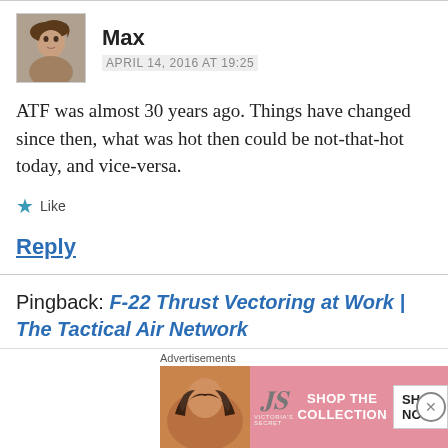[Figure (photo): Avatar photo of commenter Max — person with dark hair]
Max
APRIL 14, 2016 AT 19:25
ATF was almost 30 years ago. Things have changed since then, what was hot then could be not-that-hot today, and vice-versa.
Like
Reply
Pingback: F-22 Thrust Vectoring at Work | The Tactical Air Network
Advertisements
[Figure (other): Victoria's Secret advertisement banner showing a woman with curly hair, VS logo, SHOP THE COLLECTION text, and SHOP NOW button]